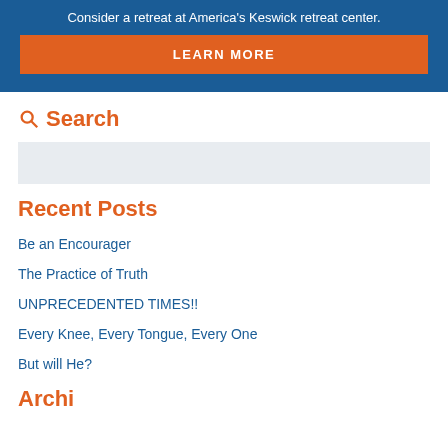Consider a retreat at America's Keswick retreat center.
LEARN MORE
Search
Recent Posts
Be an Encourager
The Practice of Truth
UNPRECEDENTED TIMES!!
Every Knee, Every Tongue, Every One
But will He?
Archi